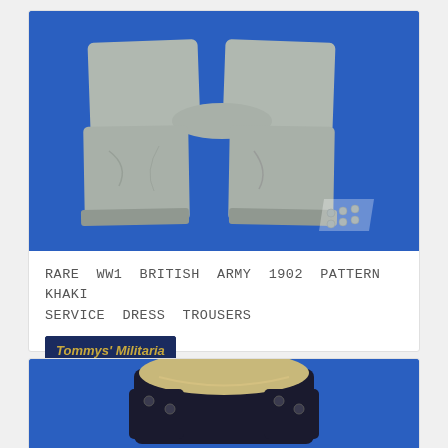[Figure (photo): Grey WW1 British Army 1902 Pattern Khaki Service Dress Trousers laid flat on a blue background, showing both legs with small buttons at the ankles]
RARE WW1 BRITISH ARMY 1902 PATTERN KHAKI SERVICE DRESS TROUSERS
Tommys' Militaria
£1,395
[Figure (photo): Bottom portion of another dark navy/black military item on blue background, partially visible at bottom of page]